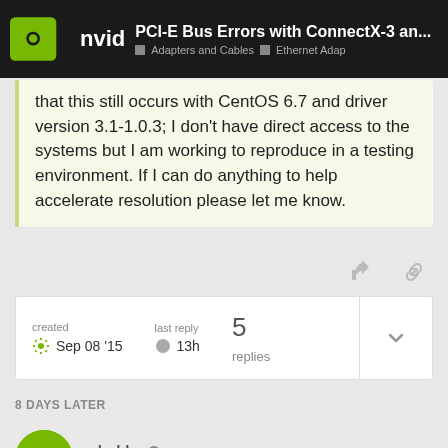PCI-E Bus Errors with ConnectX-3 an... | Adapters and Cables | Ethernet Adap
that this still occurs with CentOS 6.7 and driver version 3.1-1.0.3; I don't have direct access to the systems but I am working to reproduce in a testing environment. If I can do anything to help accelerate resolution please let me know.
created Sep 08 '15   last reply 13h   5 replies
8 DAYS LATER
rdarbha Moderator   Sep 17 '15
Update: it looks like the problems per…   1/6